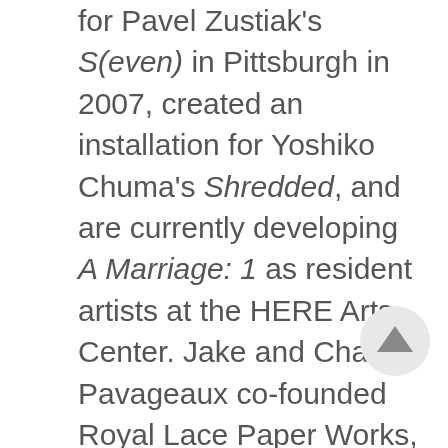for Pavel Zustiak's S(even) in Pittsburgh in 2007, created an installation for Yoshiko Chuma's Shredded, and are currently developing A Marriage: 1 as resident artists at the HERE Arts Center. Jake and Chantal Pavageaux co-founded Royal Lace Paper Works, a performance art collaboration that presented Breezy Pines as part of the Mabou Mines Resident Artist Program, The Political Party in Minneapolis in 2008, and The RV Party in RV campgrounds and truck stops throughout the United States in 2005. Jake